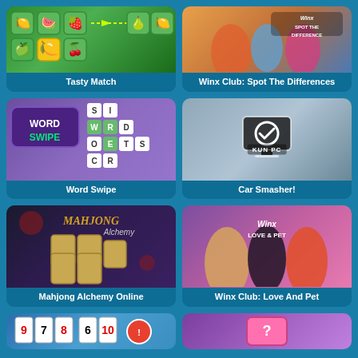[Figure (screenshot): Tasty Match game thumbnail - colorful fruit tiles on green background]
Tasty Match
[Figure (screenshot): Winx Club: Spot The Differences game thumbnail - animated fairy characters]
Winx Club: Spot The Differences
[Figure (screenshot): Word Swipe game thumbnail - word puzzle with letter tiles on purple background]
Word Swipe
[Figure (screenshot): Car Smasher! game thumbnail - blurred background with monitor/PC icon and KUN PC badge]
KUN PC
Car Smasher!
[Figure (screenshot): Mahjong Alchemy Online game thumbnail - dark fantasy themed mahjong tiles]
Mahjong Alchemy Online
[Figure (screenshot): Winx Club: Love And Pet game thumbnail - three fairy characters in pink outfits]
Winx Club: Love And Pet
[Figure (screenshot): Partial bottom-left game thumbnail - card/board game with colorful cards]
[Figure (screenshot): Partial bottom-right game thumbnail - purple background with pink tile]